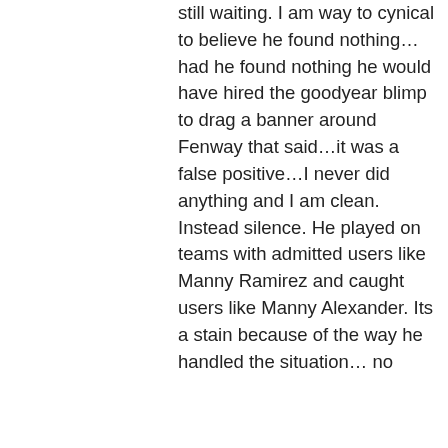still waiting. I am way to cynical to believe he found nothing… had he found nothing he would have hired the goodyear blimp to drag a banner around Fenway that said…it was a false positive…I never did anything and I am clean. Instead silence. He played on teams with admitted users like Manny Ramirez and caught users like Manny Alexander. Its a stain because of the way he handled the situation… no